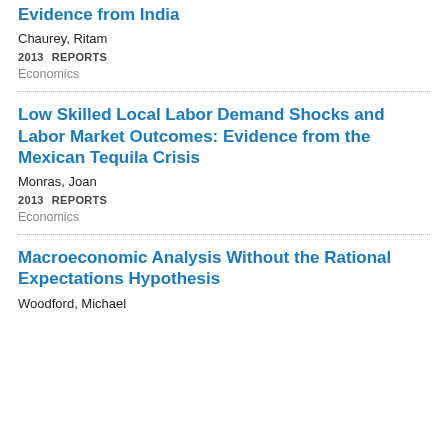Evidence from India
Chaurey, Ritam
2013   REPORTS
Economics
Low Skilled Local Labor Demand Shocks and Labor Market Outcomes: Evidence from the Mexican Tequila Crisis
Monras, Joan
2013   REPORTS
Economics
Macroeconomic Analysis Without the Rational Expectations Hypothesis
Woodford, Michael